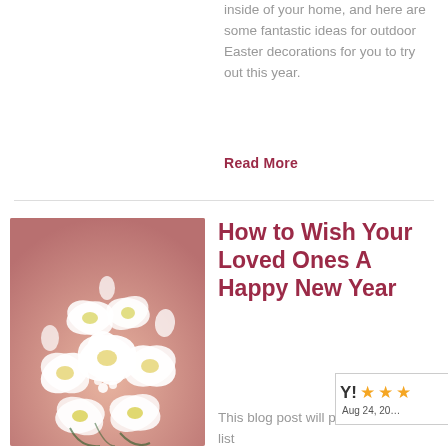inside of your home, and here are some fantastic ideas for outdoor Easter decorations for you to try out this year.
Read More
[Figure (photo): White orchid flower bouquet on a pink/mauve background]
How to Wish Your Loved Ones A Happy New Year
Aug 24, 20…
This blog post will provide you with a list